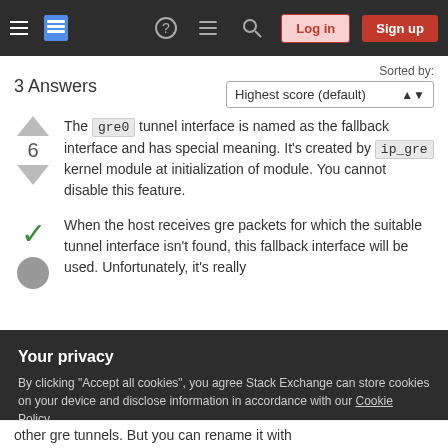Stack Exchange navigation bar with Log in and Sign up buttons
3 Answers
Sorted by: Highest score (default)
The gre0 tunnel interface is named as the fallback interface and has special meaning. It's created by ip_gre kernel module at initialization of module. You cannot disable this feature.
When the host receives gre packets for which the suitable tunnel interface isn't found, this fallback interface will be used. Unfortunately, it's really
Your privacy
By clicking "Accept all cookies", you agree Stack Exchange can store cookies on your device and disclose information in accordance with our Cookie Policy.
Accept all cookies  Customize settings
other gre tunnels. But you can rename it with